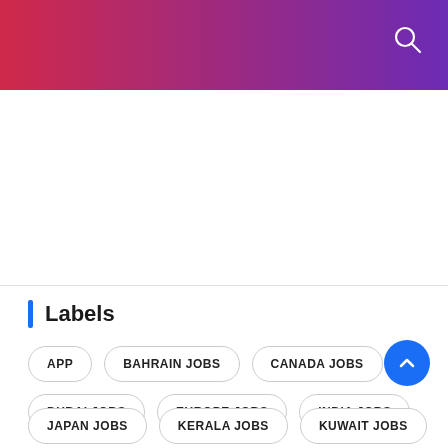Labels
APP
BAHRAIN JOBS
CANADA JOBS
DUBAI JOBS
EUROPE JOBS
INDIA JOBS
JAPAN JOBS
KERALA JOBS
KUWAIT JOBS